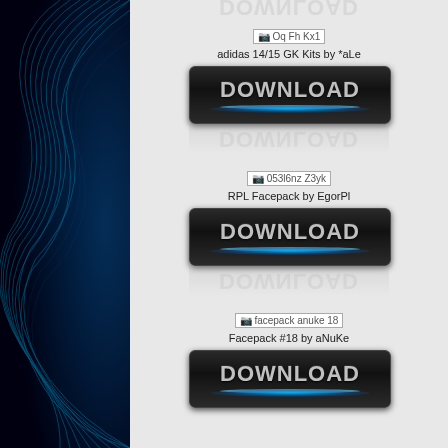[Figure (screenshot): Partial download button reflection at top of page]
[Figure (photo): Broken image placeholder labeled 'Oq Fh Kx1']
adidas 14/15 GK Kits by *aLe
[Figure (screenshot): Black DOWNLOAD button with blue glow effect]
[Figure (photo): Broken image placeholder labeled '053l6nz Z3yk']
RPL Facepack by EgorPl
[Figure (screenshot): Black DOWNLOAD button with blue glow effect]
[Figure (photo): Broken image placeholder labeled 'facepack anuke 18']
Facepack #18 by aNuKe
[Figure (screenshot): Partial black DOWNLOAD button at bottom of page]